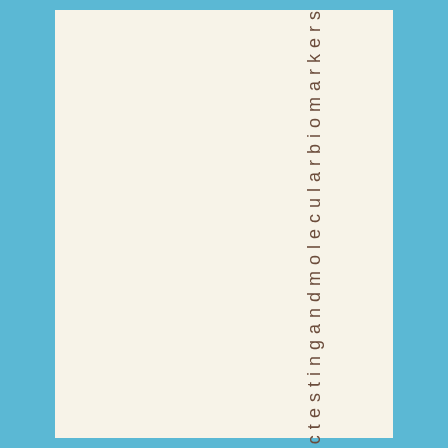ctestingandmolecularbiomarkers